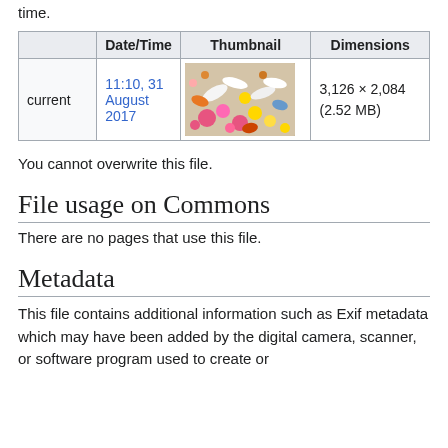time.
|  | Date/Time | Thumbnail | Dimensions |
| --- | --- | --- | --- |
| current | 11:10, 31 August 2017 | [image of pills] | 3,126 × 2,084 (2.52 MB) |
You cannot overwrite this file.
File usage on Commons
There are no pages that use this file.
Metadata
This file contains additional information such as Exif metadata which may have been added by the digital camera, scanner, or software program used to create or